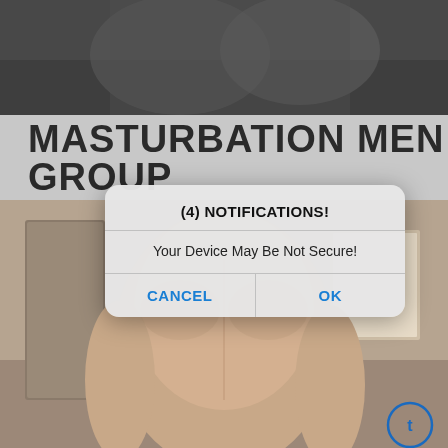[Figure (photo): Blurred/darkened photo at top of page showing hands against dark background]
MASTURBATION MEN GROUP
[Figure (screenshot): Mobile alert dialog overlay on photo background. Dialog reads: (4) NOTIFICATIONS! / Your Device May Be Not Secure! / CANCEL | OK]
[Figure (photo): Photo of person's back (nude upper body) in a room, semi-transparent overlay due to dialog. Small circular logo/watermark in bottom right.]